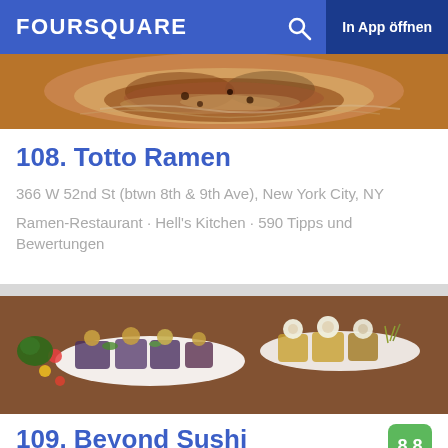FOURSQUARE  In App öffnen
[Figure (photo): Close-up photo of ramen dish with broth, noodles and toppings]
108. Totto Ramen
366 W 52nd St (btwn 8th & 9th Ave), New York City, NY
Ramen-Restaurant · Hell's Kitchen · 590 Tipps und Bewertungen
[Figure (photo): Photo of colorful gourmet sushi and appetizer bites on white plates]
109. Beyond Sushi
8.8